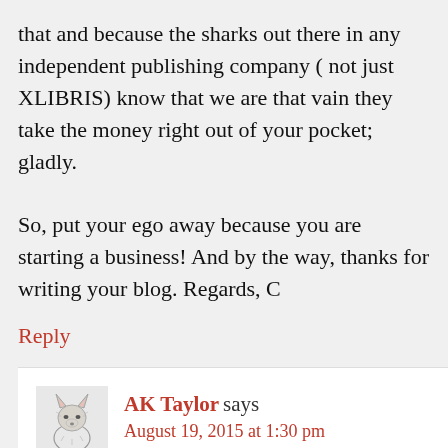that and because the sharks out there in any independent publishing company ( not just XLIBRIS) know that we are that vain they take the money right out of your pocket; gladly.

So, put your ego away because you are starting a business! And by the way, thanks for writing your blog. Regards, C
Reply
[Figure (illustration): Avatar image of a wolf or fox illustration in sketch/pencil style]
AK Taylor says
August 19, 2015 at 1:30 pm